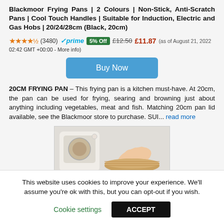Blackmoor Frying Pans | 2 Colours | Non-Stick, Anti-Scratch Pans | Cool Touch Handles | Suitable for Induction, Electric and Gas Hobs | 20/24/28cm (Black, 20cm)
★★★★½ (3480) ✓prime 5% Off £12.50 £11.87 (as of August 21, 2022 02:42 GMT +00:00 - More info)
Buy Now
20CM FRYING PAN – This frying pan is a kitchen must-have. At 20cm, the pan can be used for frying, searing and browning just about anything including vegetables, meat and fish. Matching 20cm pan lid available, see the Blackmoor store to purchase. SUI... read more
[Figure (photo): Product image showing an air fryer with a person placing a liner into it]
This website uses cookies to improve your experience. We'll assume you're ok with this, but you can opt-out if you wish.
Cookie settings  ACCEPT